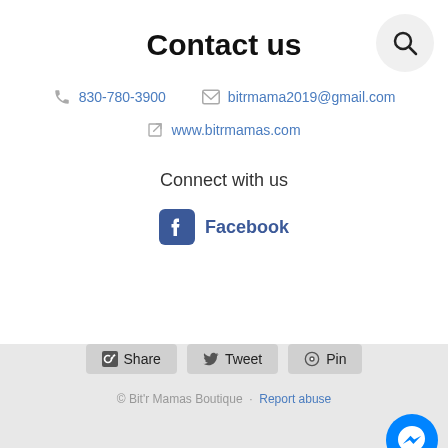Contact us
830-780-3900
bitrmama2019@gmail.com
www.bitrmamas.com
Connect with us
Facebook
Share  Tweet  Pin
© Bit'r Mamas Boutique · Report abuse